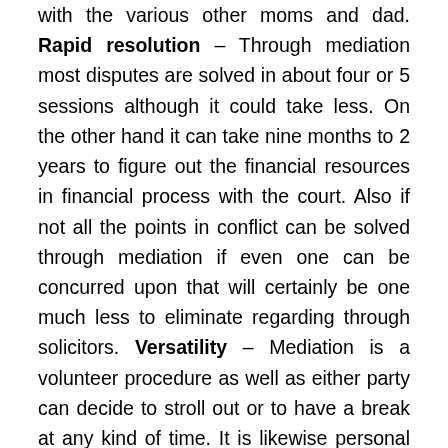with the various other moms and dad. Rapid resolution – Through mediation most disputes are solved in about four or 5 sessions although it could take less. On the other hand it can take nine months to 2 years to figure out the financial resources in financial process with the court. Also if not all the points in conflict can be solved through mediation if even one can be concurred upon that will certainly be one much less to eliminate regarding through solicitors. Versatility – Mediation is a volunteer procedure as well as either party can decide to stroll out or to have a break at any kind of time. It is likewise personal and moderators will not reveal any type